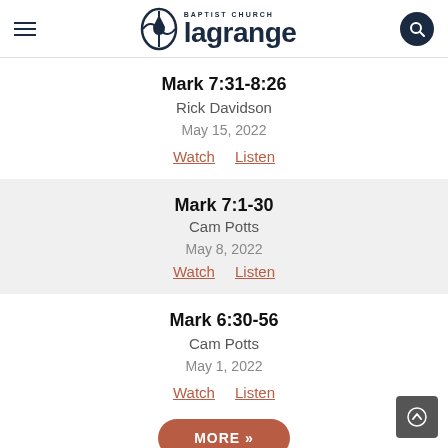lagrange BAPTIST CHURCH
Mark 7:31-8:26
Rick Davidson
May 15, 2022
Watch   Listen
Mark 7:1-30
Cam Potts
May 8, 2022
Watch   Listen
Mark 6:30-56
Cam Potts
May 1, 2022
Watch   Listen
MORE »